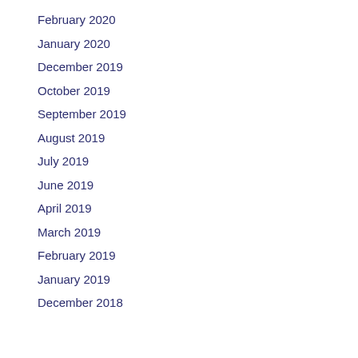February 2020
January 2020
December 2019
October 2019
September 2019
August 2019
July 2019
June 2019
April 2019
March 2019
February 2019
January 2019
December 2018